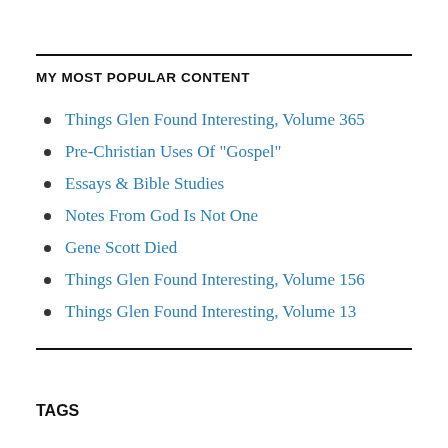MY MOST POPULAR CONTENT
Things Glen Found Interesting, Volume 365
Pre-Christian Uses Of "Gospel"
Essays & Bible Studies
Notes From God Is Not One
Gene Scott Died
Things Glen Found Interesting, Volume 156
Things Glen Found Interesting, Volume 13
TAGS